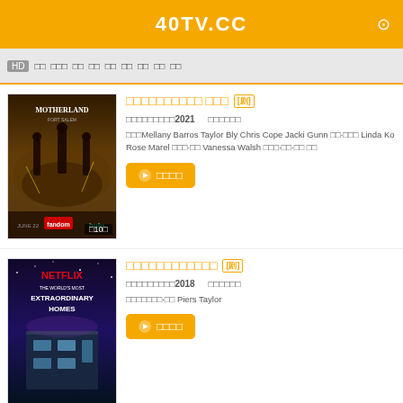40TV.CC
HD  □□ □□□ □□ □□ □□ □□ □□  □□  □□
□□□□□□□□□□ □□□  [剧]
□□□□□□□□□2021    □□□□□□
□□□Mellany Barros Taylor Bly Chris Cope Jacki Gunn □□·□□□ Linda Ko Rose Marel □□□·□□ Vanessa Walsh □□□·□□·□□ □□
▶ □□□□
□□□□□□□□□□□□  [剧]
□□□□□□□□□2018    □□□□□□
□□□□□□□·□□ Piers Taylor
▶ □□□□